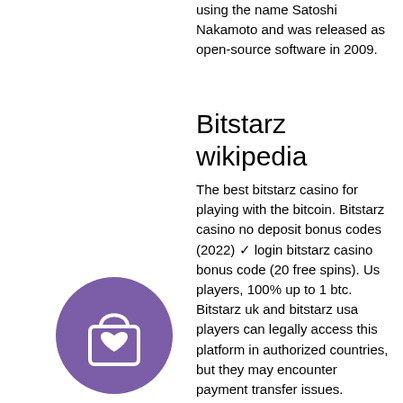using the name Satoshi Nakamoto and was released as open-source software in 2009.
Bitstarz wikipedia
The best bitstarz casino for playing with the bitcoin. Bitstarz casino no deposit bonus codes (2022) ✓ login bitstarz casino bonus code (20 free spins). Us players, 100% up to 1 btc. Bitstarz uk and bitstarz usa players can legally access this platform in authorized countries, but they may encounter payment transfer issues. Bitstarz casino does not accept players from the united states. Your best free usa no deposit bonus codes for january 2021. At nodepositrewards, you'll find the best no deposit bonuses for us players. Not to worry, try these casinos instead. All above currencies are exchanged from euros to us dollars. In addition, the rewards appeal to more
[Figure (illustration): Purple circle icon with a shopping bag and heart symbol]